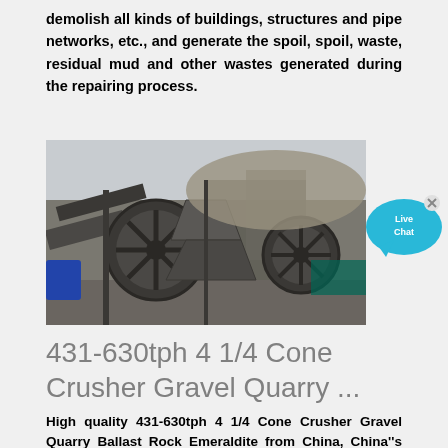demolish all kinds of buildings, structures and pipe networks, etc., and generate the spoil, spoil, waste, residual mud and other wastes generated during the repairing process.
[Figure (photo): Industrial sand washing or crushing machinery at a quarry or construction site, showing large rotating wheel-like equipment with conveyor structures.]
[Figure (other): Live Chat speech bubble button in cyan/blue color with an X close button]
431-630tph 4 1/4 Cone Crusher Gravel Quarry ...
High quality 431-630tph 4 1/4 Cone Crusher Gravel Quarry Ballast Rock Emeraldite from China, China''s leading 431-630tph 4 1/4 cone crusher product with